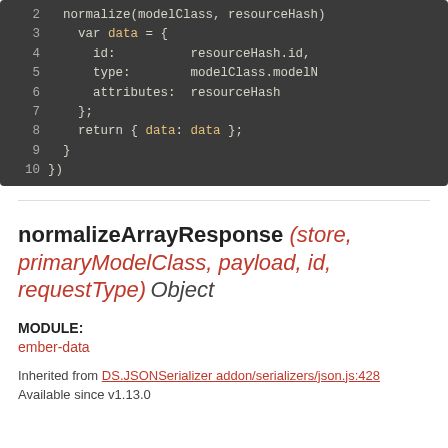[Figure (screenshot): Code block showing JavaScript lines 2-10 with syntax highlighting on dark background. Shows normalize function body with data variable, id, type, attributes, return statement, and closing braces.]
normalizeArrayResponse (store, primaryModelClass, payload, id, requestType) Object
MODULE:
ember-data
Inherited from DS.JSONSerializer addon/serializers/json.js:428
Available since v1.13.0